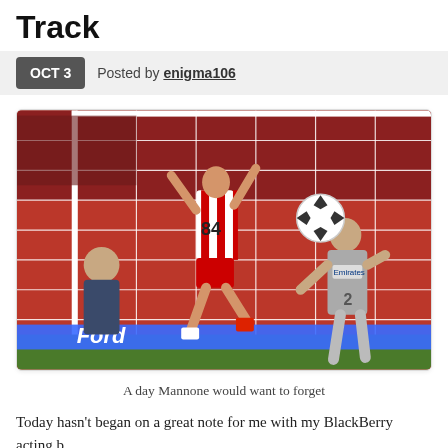Track
OCT 3 | Posted by enigma106
[Figure (photo): Soccer/football action photo showing a player in red and white striped kit jumping near the goal, with a goalkeeper in grey kit (number 2) heading a ball. Ford advertising board visible at the bottom. UEFA Champions League ball visible. Photo taken at a stadium.]
A day Mannone would want to forget
Today hasn't began on a great note for me with my BlackBerry acting b